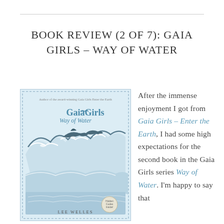BOOK REVIEW (2 OF 7): GAIA GIRLS – WAY OF WATER
[Figure (illustration): Book cover of 'Gaia Girls Way of Water' showing ocean waves with dolphins, illustrated in blue and white tones. Text at top reads 'Author of the award-winning Gaia Girls Enter the Earth'. Bottom reads 'LEE WELLES'. Small badge reads 'Hidden Codes Inside!'.]
After the immense enjoyment I got from Gaia Girls – Enter the Earth, I had some high expectations for the second book in the Gaia Girls series Way of Water. I'm happy to say that